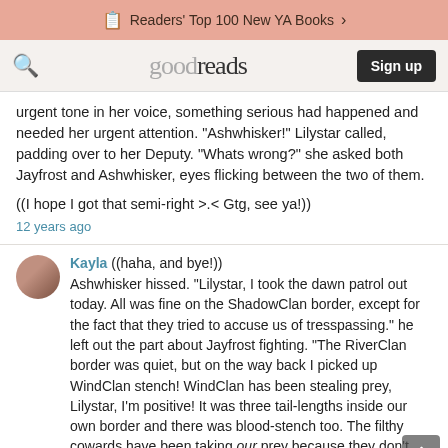Readers' Top 100 New YA Books >
goodreads  Sign up
urgent tone in her voice, something serious had happened and needed her urgent attention. "Ashwhisker!" Lilystar called, padding over to her Deputy. "Whats wrong?" she asked both Jayfrost and Ashwhisker, eyes flicking between the two of them.

((I hope I got that semi-right >.< Gtg, see ya!))
12 years ago
Kayla ((haha, and bye!))
Ashwhisker hissed. "Lilystar, I took the dawn patrol out today. All was fine on the ShadowClan border, except for the fact that they tried to accuse us of tresspassing." he left out the part about Jayfrost fighting. "The RiverClan border was quiet, but on the way back I picked up WindClan stench! WindClan has been stealing prey, Lilystar, I'm positive! It was three tail-lengths inside our own border and there was blood-stench too. The filthy cowards have been taking our prey because they don't have enough!" She was agitated.